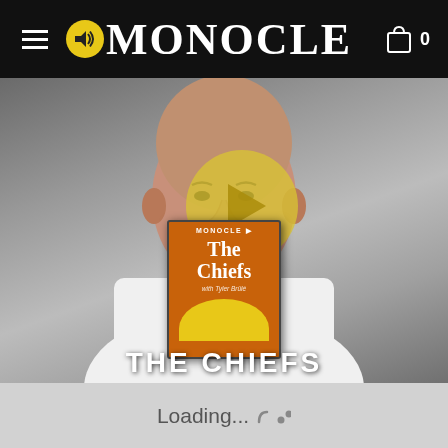MONOCLE
[Figure (photo): A bald man with a white beard wearing a white shirt, photographed against a grey background. A yellow semi-transparent play button circle overlays the center. A podcast cover art for 'The Chiefs' (Monocle Radio) is shown on his chest area.]
THE CHIEFS
Loading...